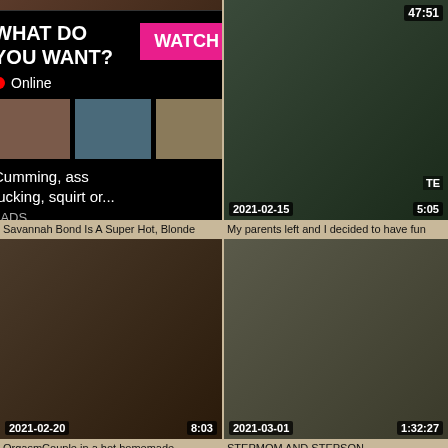[Figure (screenshot): Video thumbnail grid - top left video thumbnail with date 2021-02-24, duration 29:22]
[Figure (screenshot): Ad overlay: WHAT DO YOU WANT? WATCH button, Online indicator, thumbnail images, text: Cumming, ass fucking, squirt or... ADS]
[Figure (screenshot): Top right video thumbnail with date 2021-02-15, duration 5:05, partially hidden]
Savannah Bond Is A Super Hot, Blonde
My parents left and I decided to have fun
[Figure (screenshot): Middle left video thumbnail with date 2021-02-20, duration 8:03]
[Figure (screenshot): Middle right video thumbnail with date 2021-03-01, duration 1:32:27]
OrgasmCouple in a hot homemade
STEPMOM AND STEPSON
[Figure (screenshot): Bottom left video thumbnail partial]
[Figure (screenshot): Bottom right video thumbnail partial with xHour.com watermark]